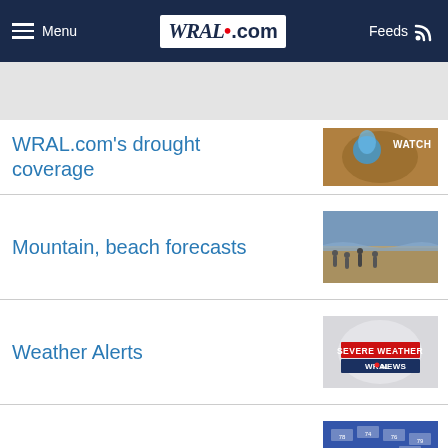Menu | WRAL.com | Feeds
WRAL.com's drought coverage
Mountain, beach forecasts
Weather Alerts
Hourly forecast